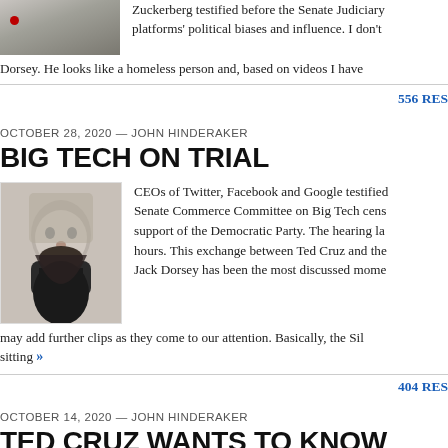[Figure (photo): Partial photo of a person, top portion cropped]
Zuckerberg testified before the Senate Judiciary platforms' political biases and influence. I don't Dorsey. He looks like a homeless person and, based on videos I have
556 RES
OCTOBER 28, 2020 — JOHN HINDERAKER
BIG TECH ON TRIAL
[Figure (photo): Photo of Jack Dorsey, bearded man with dark hair]
CEOs of Twitter, Facebook and Google testified Senate Commerce Committee on Big Tech cens support of the Democratic Party. The hearing la hours. This exchange between Ted Cruz and the Jack Dorsey has been the most discussed mome may add further clips as they come to our attention. Basically, the Sil sitting »
404 RES
OCTOBER 14, 2020 — JOHN HINDERAKER
TED CRUZ WANTS TO KNOW